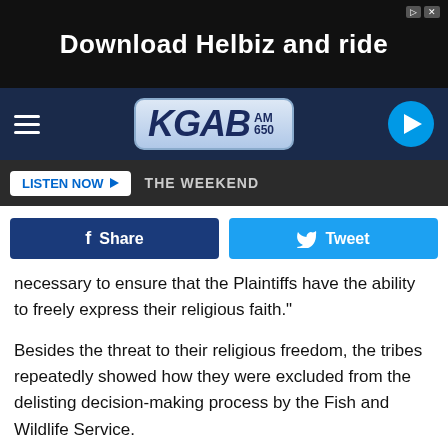[Figure (screenshot): Advertisement banner: 'Download Helbiz and ride' on dark background with person riding scooter]
[Figure (logo): KGAB AM 650 radio station logo on dark navy navigation bar with hamburger menu and play button]
[Figure (screenshot): LISTEN NOW button with THE WEEKEND label on dark bar]
[Figure (screenshot): Facebook Share and Twitter Tweet social sharing buttons]
necessary to ensure that the Plaintiffs have the ability to freely express their religious faith."
Besides the threat to their religious freedom, the tribes repeatedly showed how they were excluded from the delisting decision-making process by the Fish and Wildlife Service.
Rasmussen said environmental organizations that filed similar lawsuits to relist the grizzly bear showed the science